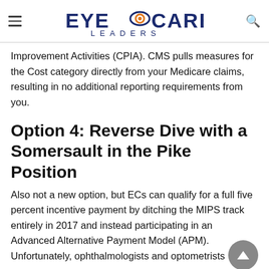Eye Care Leaders
Improvement Activities (CPIA). CMS pulls measures for the Cost category directly from your Medicare claims, resulting in no additional reporting requirements from you.
Option 4: Reverse Dive with a Somersault in the Pike Position
Also not a new option, but ECs can qualify for a full five percent incentive payment by ditching the MIPS track entirely in 2017 and instead participating in an Advanced Alternative Payment Model (APM). Unfortunately, ophthalmologists and optometrists